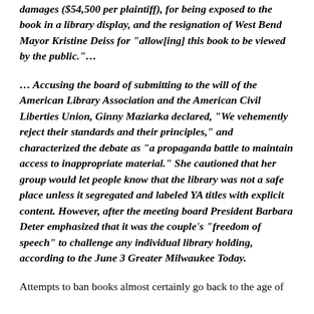damages ($54,500 per plaintiff), for being exposed to the book in a library display, and the resignation of West Bend Mayor Kristine Deiss for "allow[ing] this book to be viewed by the public."...
... Accusing the board of submitting to the will of the American Library Association and the American Civil Liberties Union, Ginny Maziarka declared, "We vehemently reject their standards and their principles," and characterized the debate as "a propaganda battle to maintain access to inappropriate material." She cautioned that her group would let people know that the library was not a safe place unless it segregated and labeled YA titles with explicit content. However, after the meeting board President Barbara Deter emphasized that it was the couple's "freedom of speech" to challenge any individual library holding, according to the June 3 Greater Milwaukee Today.
Attempts to ban books almost certainly go back to the age of